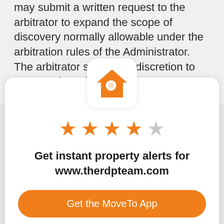may submit a written request to the arbitrator to expand the scope of discovery normally allowable under the arbitration rules of the Administrator. The arbitrator shall have discretion to grant or deny that request.
[Figure (logo): Orange house icon with magnifying glass, on white rounded square background]
[Figure (other): 4 filled orange stars and 1 empty gray star rating]
Get instant property alerts for www.therdpteam.com
Get the MoveTo App
Not Now